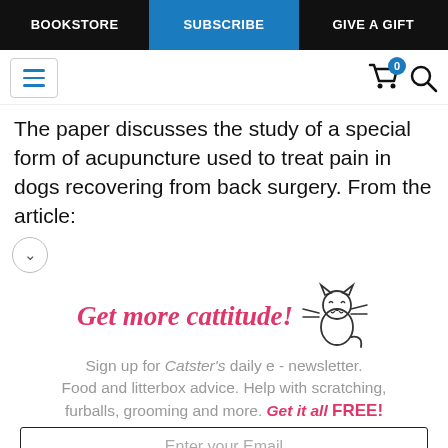BOOKSTORE | SUBSCRIBE | GIVE A GIFT
[Figure (screenshot): Navigation header with hamburger menu icon, cart icon with badge showing 0, and search icon]
The paper discusses the study of a special form of acupuncture used to treat pain in dogs recovering from back surgery. From the article:
[Figure (infographic): Newsletter signup promotional block with 'Get more cattitude!' headline, cat illustration, newsletter description, email input field, and YES! SIGN ME UP button]